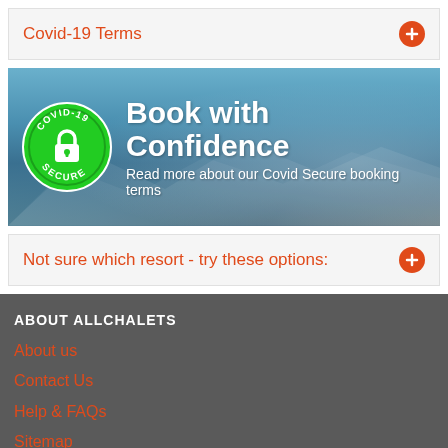Covid-19 Terms
[Figure (infographic): Book with Confidence banner with COVID-19 Secure badge, mountain background, text: Book with Confidence, Read more about our Covid Secure booking terms]
Not sure which resort - try these options:
ABOUT ALLCHALETS
About us
Contact Us
Help & FAQs
Sitemap
Terms & Conditions
Booking Conditions